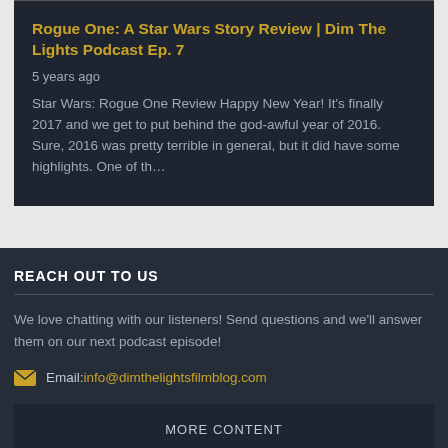Rogue One: A Star Wars Story Review | Dim The Lights Podcast Ep. 7
5 years ago
Star Wars: Rogue One Review Happy New Year! It's finally 2017 and we get to put behind the god-awful year of 2016. Sure, 2016 was pretty terrible in general, but it did have some highlights. One of th…
REACH OUT TO US
We love chatting with our listeners! Send questions and we'll answer them on our next podcast episode!
Email: info@dimthelightsfilmblog.com
MORE CONTENT